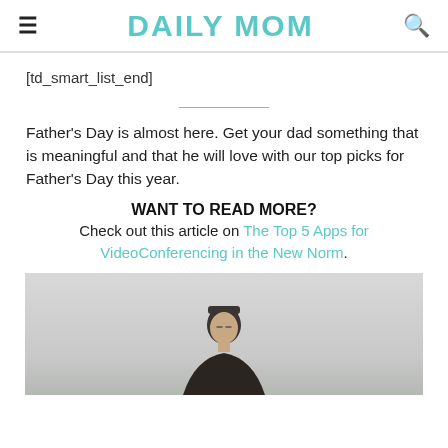DAILY MOM
[td_smart_list_end]
Father's Day is almost here. Get your dad something that is meaningful and that he will love with our top picks for Father's Day this year.
WANT TO READ MORE?
Check out this article on The Top 5 Apps for VideoConferencing in the New Norm.
[Figure (photo): Photo of a man with close-cropped hair wearing a dark jacket, positioned center-bottom of the image against a light grey overcast sky background.]